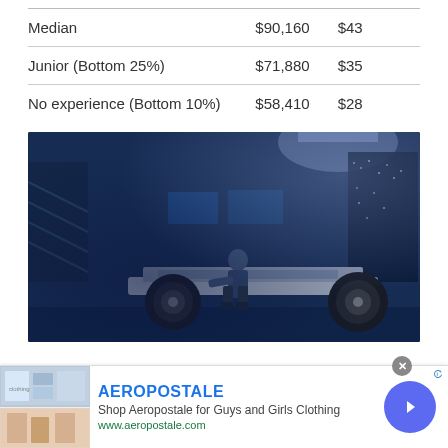| Median | $90,160 | $43 |
| Junior (Bottom 25%) | $71,880 | $35 |
| No experience (Bottom 10%) | $58,410 | $28 |
[Figure (photo): A man working on an electric vehicle chassis/skateboard platform in a blue-lit high-tech workshop or garage. The chassis shows wheels and battery platform. Screens and city lights visible in background.]
[Figure (screenshot): Advertisement banner for Aeropostale showing clothing images on the left, brand name 'AEROPOSTALE' in blue, tagline 'Shop Aeropostale for Guys and Girls Clothing', URL 'www.aeropostale.com' in green, a blue circular arrow button on the right, and a close X button.]